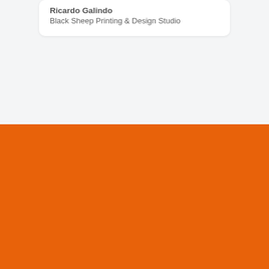Ricardo Galindo
Black Sheep Printing & Design Studio
[Figure (other): Solid orange/burnt orange background block filling the bottom half of the page]